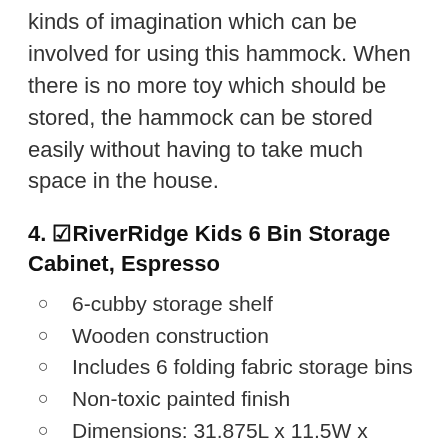kinds of imagination which can be involved for using this hammock. When there is no more toy which should be stored, the hammock can be stored easily without having to take much space in the house.
4. ☑RiverRidge Kids 6 Bin Storage Cabinet, Espresso
6-cubby storage shelf
Wooden construction
Includes 6 folding fabric storage bins
Non-toxic painted finish
Dimensions: 31.875L x 11.5W x 24.875H in.
Weight: 33.9 pounds
Dimensions: 31.9 x 11.5 x 24.9 inches
Assembled Height: 24.88 inches
Assembled Length: 31.88 inches Assembled